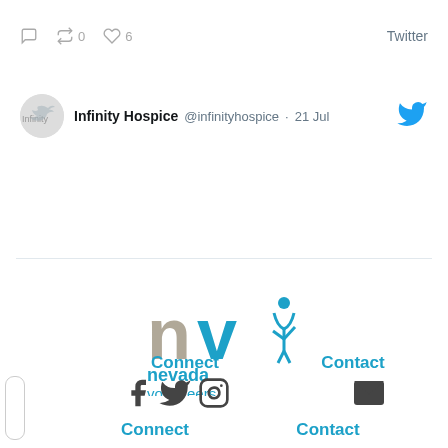[Figure (screenshot): Tweet action bar with reply, retweet (0), like (6) icons and Twitter label]
[Figure (screenshot): Tweet from Infinity Hospice @infinityhospice dated 21 Jul with Twitter bird icon]
[Figure (logo): Nevada Volunteers logo with 'nv' text and figure icon in blue and grey]
Connect
Contact
[Figure (infographic): Social media icons: Facebook, Twitter, Instagram under Connect; Envelope icon under Contact]